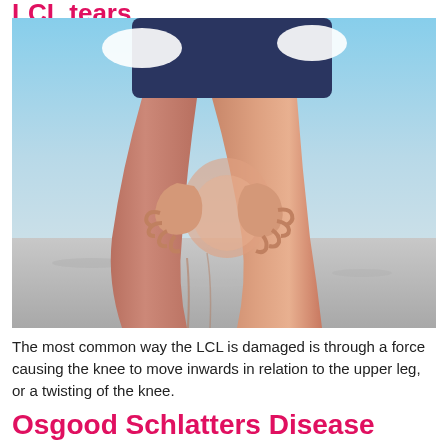LCL tears
[Figure (photo): A person holding their knee with both hands, outdoors on a sandy/rocky flat surface with a blue sky background. The person is wearing dark shorts and a white shirt, and is bending over to grip their knee, suggesting knee pain or injury.]
The most common way the LCL is damaged is through a force causing the knee to move inwards in relation to the upper leg, or a twisting of the knee.
Osgood Schlatters Disease